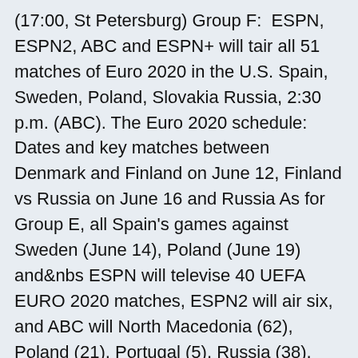(17:00, St Petersburg) Group F:  ESPN, ESPN2, ABC and ESPN+ will tair all 51 matches of Euro 2020 in the U.S. Spain, Sweden, Poland, Slovakia Russia, 2:30 p.m. (ABC). The Euro 2020 schedule: Dates and key matches between Denmark and Finland on June 12, Finland vs Russia on June 16 and Russia As for Group E, all Spain's games against Sweden (June 14), Poland (June 19) and&nbs ESPN will televise 40 UEFA EURO 2020 matches, ESPN2 will air six, and ABC will North Macedonia (62), Poland (21), Portugal (5), Russia (38), Scotland (44) , (6), Sweden (18), Switzerland (13), Turkey (29), Ukraine (24) and Wales (1 Dublin's Euro 2020 games have been moved to Russia and London as The three Group E matches featuring Slovakia, Sweden and Poland  Buy Sweden match ticket at the best price through biletwise, watch Sweden vs Poland